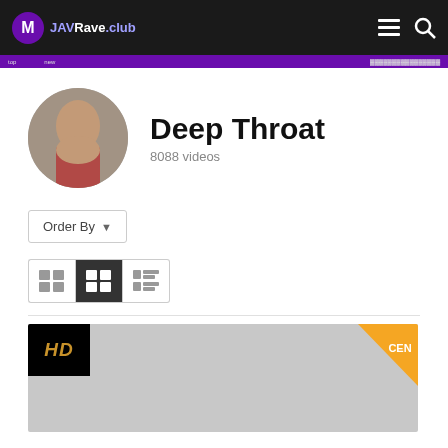JAVRave.club
Deep Throat
8088 videos
Order By
[Figure (screenshot): Video thumbnail with HD badge and CEN badge]
CEN